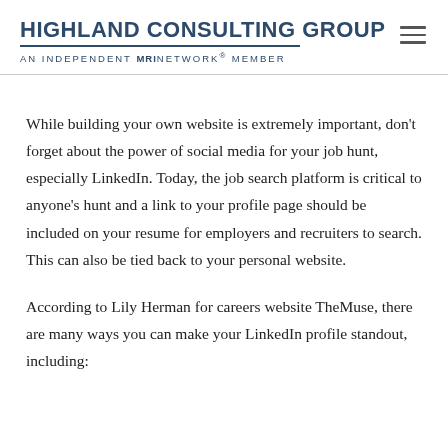HIGHLAND CONSULTING GROUP
AN INDEPENDENT MRINETWORK® MEMBER
While building your own website is extremely important, don't forget about the power of social media for your job hunt, especially LinkedIn. Today, the job search platform is critical to anyone's hunt and a link to your profile page should be included on your resume for employers and recruiters to search. This can also be tied back to your personal website.
According to Lily Herman for careers website TheMuse, there are many ways you can make your LinkedIn profile standout, including: